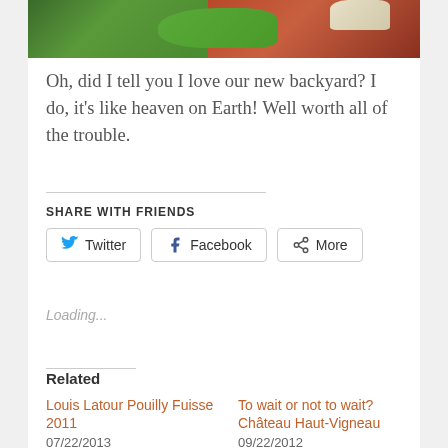[Figure (photo): Outdoor garden photo showing green grass/plants and red/brown mulch in a backyard]
Oh, did I tell you I love our new backyard? I do, it's like heaven on Earth! Well worth all of the trouble.
SHARE WITH FRIENDS
[Figure (screenshot): Social sharing buttons: Twitter, Facebook, More]
Loading...
Related
Louis Latour Pouilly Fuisse 2011
07/22/2013
In "All my wine blogs"
To wait or not to wait? Château Haut-Vigneau
09/22/2012
In "All wine reviews"